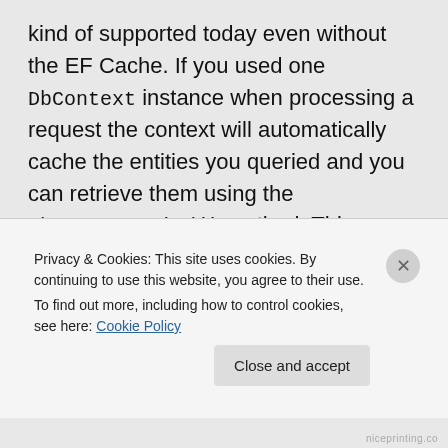kind of supported today even without the EF Cache. If you used one DbContext instance when processing a request the context will automatically cache the entities you queried and you can retrieve them using the DbContext.Find() method. This method first checks if the entity you are asking for is available locally and returns it if it is, otherwise it fetches from the database (more details here: http://msdn.microsoft.com/en...
Privacy & Cookies: This site uses cookies. By continuing to use this website, you agree to their use.
To find out more, including how to control cookies, see here: Cookie Policy